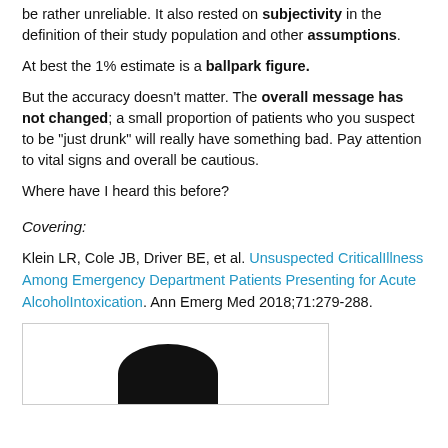be rather unreliable. It also rested on subjectivity in the definition of their study population and other assumptions.
At best the 1% estimate is a ballpark figure.
But the accuracy doesn't matter. The overall message has not changed; a small proportion of patients who you suspect to be "just drunk" will really have something bad. Pay attention to vital signs and overall be cautious.
Where have I heard this before?
Covering:
Klein LR, Cole JB, Driver BE, et al. Unsuspected CriticalIllness Among Emergency Department Patients Presenting for Acute AlcoholIntoxication. Ann Emerg Med 2018;71:279-288.
[Figure (photo): Partial silhouette of a person's head/shoulders at bottom of image box]